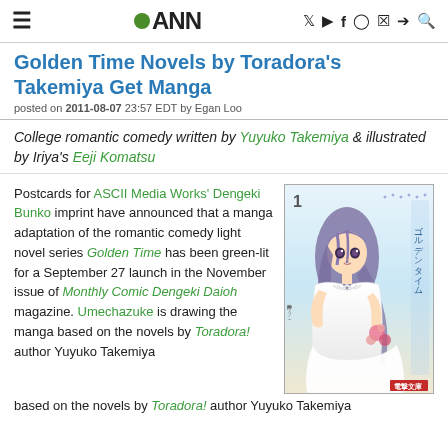≡  •ANN  [social icons]
Golden Time Novels by Toradora's Takemiya Get Manga
posted on 2011-08-07 23:57 EDT by Egan Loo
College romantic comedy written by Yuyuko Takemiya & illustrated by Iriya's Eeji Komatsu
Postcards for ASCII Media Works' Dengeki Bunko imprint have announced that a manga adaptation of the romantic comedy light novel series Golden Time has been green-lit for a September 27 launch in the November issue of Monthly Comic Dengeki Daioh magazine. Umechazuke is drawing the manga based on the novels by Toradora! author Yuyuko Takemiya
[Figure (illustration): Cover of Golden Time volume 1 light novel showing an anime girl in a white dress with long purple hair holding flowers, with Japanese text on right side and number 1 at top]